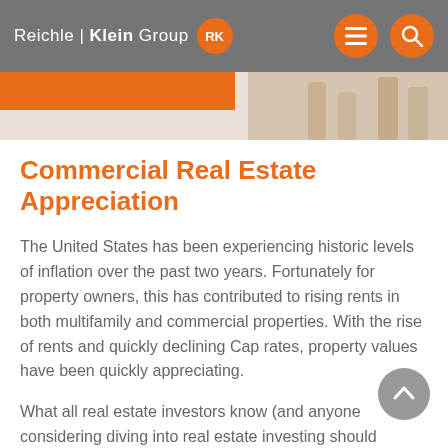Reichle | Klein Group RK
[Figure (photo): Hero image strip with orange bar on left and person's legs/feet visible on right on a light beige background]
Commercial Real Estate Appreciation
The United States has been experiencing historic levels of inflation over the past two years. Fortunately for property owners, this has contributed to rising rents in both multifamily and commercial properties. With the rise of rents and quickly declining Cap rates, property values have been quickly appreciating.
What all real estate investors know (and anyone considering diving into real estate investing should